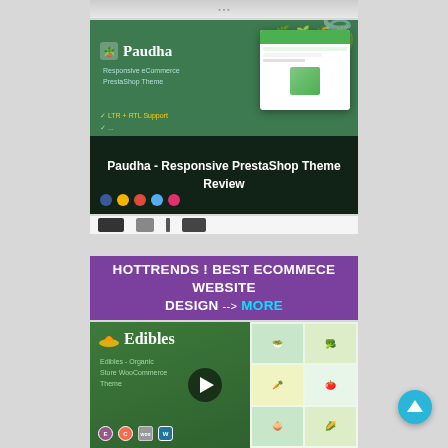[Figure (screenshot): Paudha - Responsive PrestaShop Theme promotional card with dark overlay title text on green background]
Paudha - Responsive PrestaShop Theme Review
[Figure (screenshot): Partial preview strip showing product thumbnails]
HOTTRENDS ! BEST ECOMMECE WEBSITE DESIGN --> MORE
[Figure (screenshot): Edibles - Organic Store WooCommerce Theme promotional card with play button and green background]